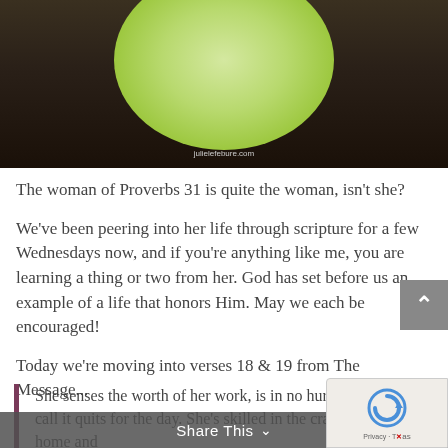[Figure (photo): A decorative image with a green circular area containing the text 'Proverbs 31:18-19' on a dark nature background with branches. Watermark reads 'julielefebure.com']
The woman of Proverbs 31 is quite the woman, isn't she?
We've been peering into her life through scripture for a few Wednesdays now, and if you're anything like me, you are learning a thing or two from her. God has set before us an example of a life that honors Him. May we each be encouraged!
Today we're moving into verses 18 & 19 from The Message...
She senses the worth of her work, is in no hurry to call it quits for the day. She's skilled in the crafts of home and